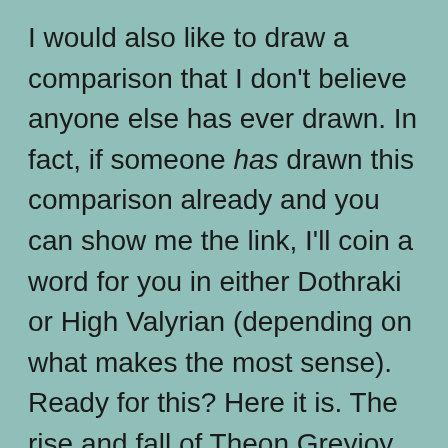I would also like to draw a comparison that I don't believe anyone else has ever drawn. In fact, if someone has drawn this comparison already and you can show me the link, I'll coin a word for you in either Dothraki or High Valyrian (depending on what makes the most sense). Ready for this? Here it is. The rise and fall of Theon Greyjoy (and what will eventually become of that once we get into his book 5 arc) reminds me a lot of Willie Loomis from the original Dark Shadows. The parallels are many. Not that I think George Martin was inspired by the character (they're not that much alike in the particulars). I just find it to be a